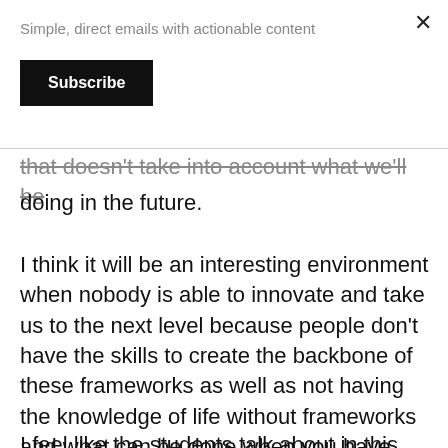Simple, direct emails with actionable content
Subscribe
that doesn't take into account what we'll be doing in the future.
I think it will be an interesting environment when nobody is able to innovate and take us to the next level because people don't have the skills to create the backbone of these frameworks as well as not having the knowledge of life without frameworks and what can be done when you have free reign from the programming language.
I feel like the students talk about in this